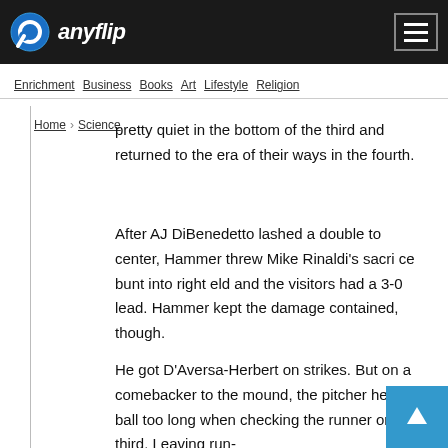anyflip
Enrichment  Business  Books  Art  Lifestyle  Religion
Home > Science
pretty quiet in the bottom of the third and returned to the era of their ways in the fourth.
After AJ DiBenedetto lashed a double to center, Hammer threw Mike Rinaldi’s sacri ce bunt into right eld and the visitors had a 3-0 lead. Hammer kept the damage contained, though.
He got D’Aversa-Herbert on strikes. But on a comebacker to the mound, the pitcher held the ball too long when checking the runner on third. Leaving run-